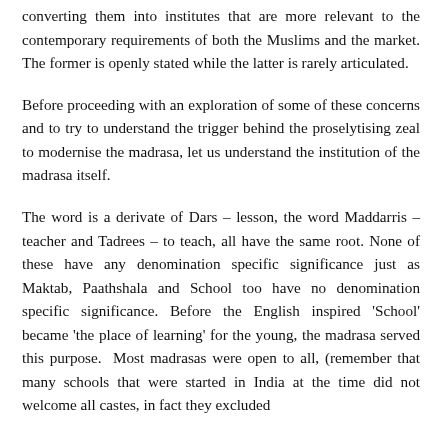converting them into institutes that are more relevant to the contemporary requirements of both the Muslims and the market. The former is openly stated while the latter is rarely articulated.
Before proceeding with an exploration of some of these concerns and to try to understand the trigger behind the proselytising zeal to modernise the madrasa, let us understand the institution of the madrasa itself.
The word is a derivate of Dars – lesson, the word Maddarris – teacher and Tadrees – to teach, all have the same root. None of these have any denomination specific significance just as Maktab, Paathshala and School too have no denomination specific significance. Before the English inspired 'School' became 'the place of learning' for the young, the madrasa served this purpose.  Most madrasas were open to all, (remember that many schools that were started in India at the time did not welcome all castes, in fact they excluded